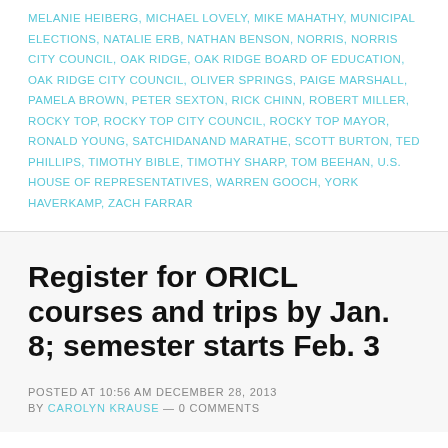MELANIE HEIBERG, MICHAEL LOVELY, MIKE MAHATHY, MUNICIPAL ELECTIONS, NATALIE ERB, NATHAN BENSON, NORRIS, NORRIS CITY COUNCIL, OAK RIDGE, OAK RIDGE BOARD OF EDUCATION, OAK RIDGE CITY COUNCIL, OLIVER SPRINGS, PAIGE MARSHALL, PAMELA BROWN, PETER SEXTON, RICK CHINN, ROBERT MILLER, ROCKY TOP, ROCKY TOP CITY COUNCIL, ROCKY TOP MAYOR, RONALD YOUNG, SATCHIDANAND MARATHE, SCOTT BURTON, TED PHILLIPS, TIMOTHY BIBLE, TIMOTHY SHARP, TOM BEEHAN, U.S. HOUSE OF REPRESENTATIVES, WARREN GOOCH, YORK HAVERKAMP, ZACH FARRAR
Register for ORICL courses and trips by Jan. 8; semester starts Feb. 3
POSTED AT 10:56 AM DECEMBER 28, 2013
BY CAROLYN KRAUSE — 0 COMMENTS